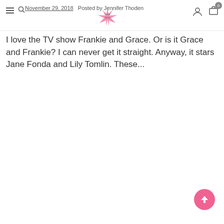November 29, 2018   Posted by Jennifer Thoden
I love the TV show Frankie and Grace. Or is it Grace and Frankie? I can never get it straight. Anyway, it stars Jane Fonda and Lily Tomlin. These...